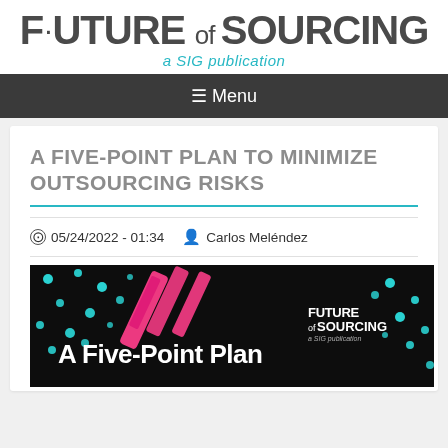FUTURE of SOURCING — a SIG publication
≡ Menu
A FIVE-POINT PLAN TO MINIMIZE OUTSOURCING RISKS
05/24/2022 - 01:34   Carlos Meléndez
[Figure (illustration): Dark promotional banner image with cyan dots, pink diagonal brush strokes, and white bold text reading 'A Five-Point Plan' with Future of Sourcing logo in top right corner]